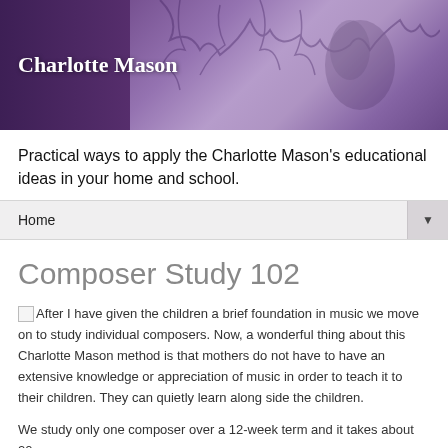[Figure (photo): Charlotte Mason website header banner with purple-toned background, decorative tree branches, and a person image. White text reads 'Charlotte Mason'.]
Practical ways to apply the Charlotte Mason's educational ideas in your home and school.
Home ▼
Composer Study 102
After I have given the children a brief foundation in music we move on to study individual composers. Now, a wonderful thing about this Charlotte Mason method is that mothers do not have to have an extensive knowledge or appreciation of music in order to teach it to their children. They can quietly learn along side the children.
We study only one composer over a 12-week term and it takes about 20